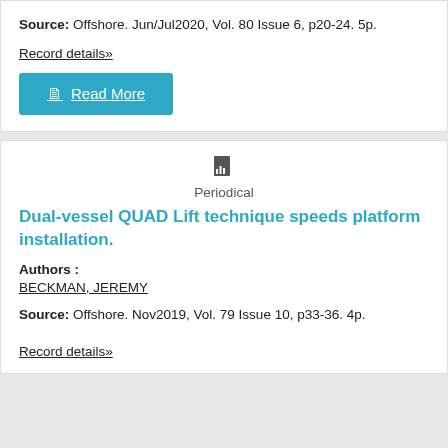Source: Offshore. Jun/Jul2020, Vol. 80 Issue 6, p20-24. 5p.
Record details»
Read More
Periodical
Dual-vessel QUAD Lift technique speeds platform installation.
Authors : BECKMAN, JEREMY
Source: Offshore. Nov2019, Vol. 79 Issue 10, p33-36. 4p.
Record details»